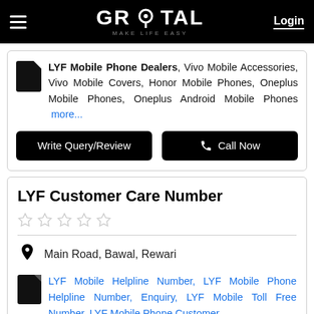GROTAL MAKE LIFE EASY | Login
LYF Mobile Phone Dealers, Vivo Mobile Accessories, Vivo Mobile Covers, Honor Mobile Phones, Oneplus Mobile Phones, Oneplus Android Mobile Phones more...
Write Query/Review | Call Now
LYF Customer Care Number
Main Road, Bawal, Rewari
LYF Mobile Helpline Number, LYF Mobile Phone Helpline Number, Enquiry, LYF Mobile Toll Free Number, LYF Mobile Phone Customer